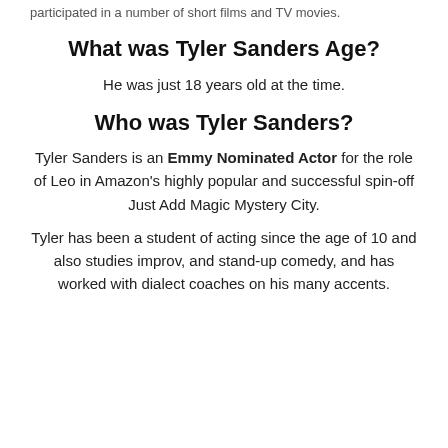participated in a number of short films and TV movies.
What was Tyler Sanders Age?
He was just 18 years old at the time.
Who was Tyler Sanders?
Tyler Sanders is an Emmy Nominated Actor for the role of Leo in Amazon's highly popular and successful spin-off Just Add Magic Mystery City.
Tyler has been a student of acting since the age of 10 and also studies improv, and stand-up comedy, and has worked with dialect coaches on his many accents.